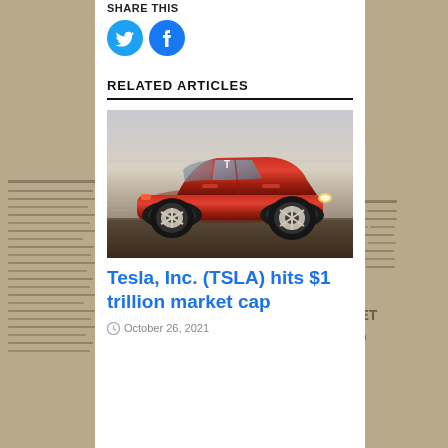[Figure (illustration): Background newspaper pages with financial data, blurred, on left and right sides of page]
[Figure (logo): Twitter bird icon in blue circle and Facebook f icon in blue circle - social share buttons]
RELATED ARTICLES
[Figure (photo): Red Tesla Model 3 sedan driving fast, motion blur background, side profile view]
Tesla, Inc. (TSLA) hits $1 trillion market cap
October 26, 2021